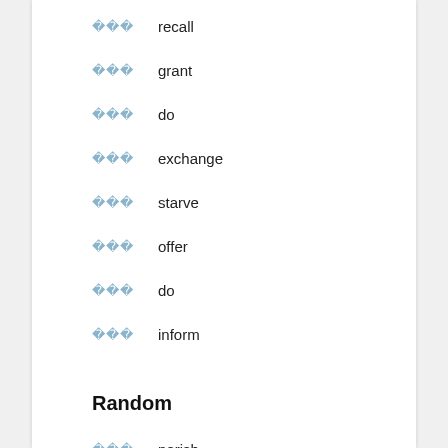□□□  recall
□□□  grant
□□□  do
□□□  exchange
□□□  starve
□□□  offer
□□□  do
□□□  inform
Random
□□□  perish
□□  induce
□□  kidnap
□□  screen
□□  prevent disease
□□  do